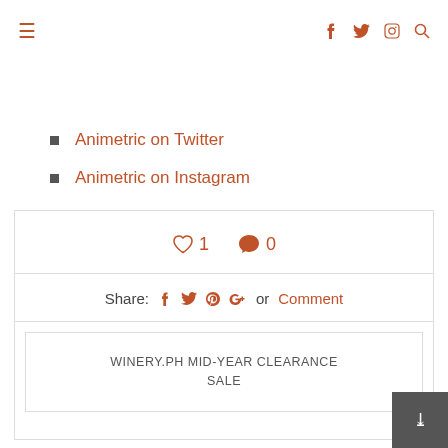≡ [navigation icons: facebook, twitter, instagram, search]
Animetric on Twitter
Animetric on Instagram
[Figure (other): Like count showing heart icon with 1, and comment bubble icon with 0; Share row with facebook, twitter, pinterest, google+ icons and Comment link; Next post box with text WINERY.PH MID-YEAR CLEARANCE SALE]